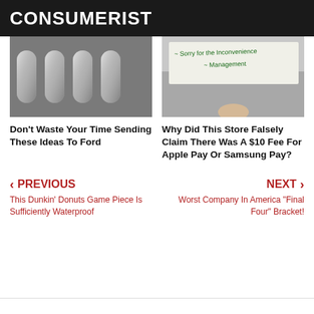CONSUMERIST
[Figure (photo): Black and white close-up photo of metallic chrome letter shapes]
[Figure (photo): Photo of a handwritten note on a metallic surface reading 'Sorry for the Inconvenience ~ Management']
Don't Waste Your Time Sending These Ideas To Ford
Why Did This Store Falsely Claim There Was A $10 Fee For Apple Pay Or Samsung Pay?
PREVIOUS
This Dunkin' Donuts Game Piece Is Sufficiently Waterproof
NEXT
Worst Company In America "Final Four" Bracket!